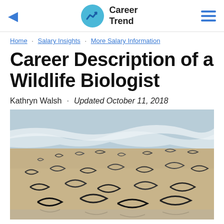Career Trend
Home · Salary Insights · More Salary Information
Career Description of a Wildlife Biologist
Kathryn Walsh · Updated October 11, 2018
[Figure (photo): Flock of seagulls flying over a sandy beach with ocean waves in the background]